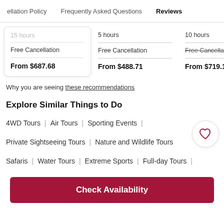ellation Policy | Frequently Asked Questions | Reviews
15 hours | 5 hours | 10 hours
Free Cancellation | Free Cancellation | Free Cancella...
From $687.68 | From $488.71 | From $719.10
Why you are seeing these recommendations
Explore Similar Things to Do
4WD Tours | Air Tours | Sporting Events |
Private Sightseeing Tours | Nature and Wildlife Tours
Safaris | Water Tours | Extreme Sports | Full-day Tours |
Check Availability